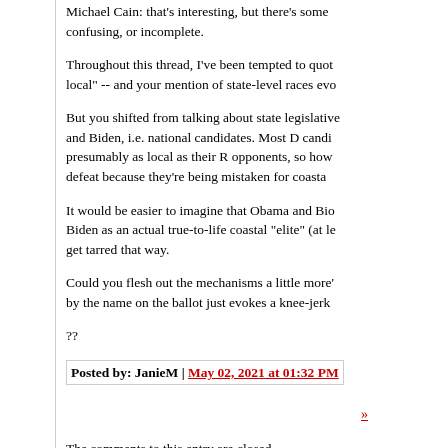Michael Cain: that's interesting, but there's some confusing, or incomplete.
Throughout this thread, I've been tempted to quote local" -- and your mention of state-level races evo
But you shifted from talking about state legislative and Biden, i.e. national candidates. Most D candi presumably as local as their R opponents, so how defeat because they're being mistaken for coasta
It would be easier to imagine that Obama and Bio Biden as an actual true-to-life coastal "elite" (at le get tarred that way.
Could you flesh out the mechanisms a little more' by the name on the ballot just evokes a knee-jerk
??
Posted by: JanieM | May 02, 2021 at 01:32 PM
»
The comments to this entry are closed.